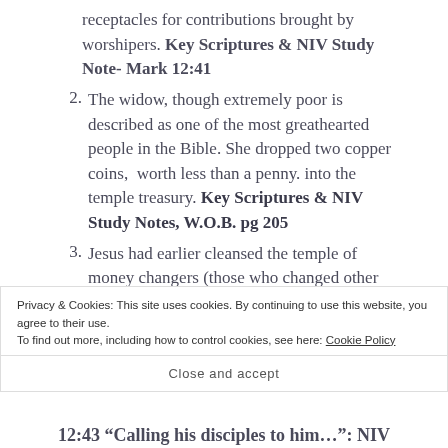receptacles for contributions brought by worshipers. Key Scriptures & NIV Study Note- Mark 12:41
2. The widow, though extremely poor is described as one of the most greathearted people in the Bible. She dropped two copper coins,  worth less than a penny. into the temple treasury. Key Scriptures & NIV Study Notes, W.O.B. pg 205
3. Jesus had earlier cleansed the temple of money changers (those who changed other coins to Jewish shekels) as he opposed the buying and selling inside of the temple. Matthew 21:12-
Privacy & Cookies: This site uses cookies. By continuing to use this website, you agree to their use. To find out more, including how to control cookies, see here: Cookie Policy
Close and accept
12:43 “Calling his disciples to him…”: NIV